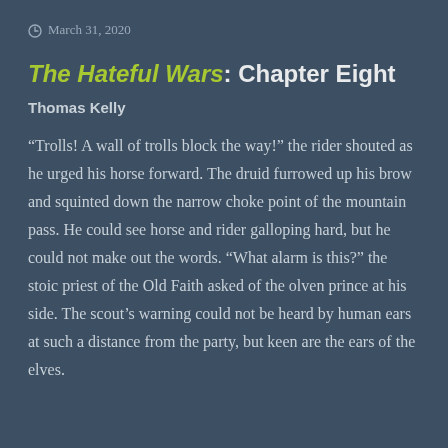March 31, 2020
The Hateful Wars: Chapter Eight
Thomas Kelly
“Trolls! A wall of trolls block the way!” the rider shouted as he urged his horse forward. The druid furrowed up his brow and squinted down the narrow choke point of the mountain pass. He could see horse and rider galloping hard, but he could not make out the words. “What alarm is this?” the stoic priest of the Old Faith asked of the olven prince at his side. The scout’s warning could not be heard by human ears at such a distance from the party, but keen are the ears of the elves.